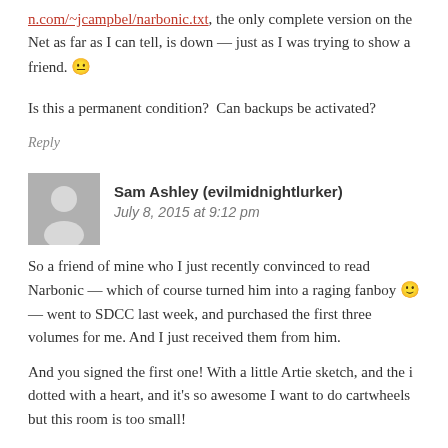n.com/~jcampbel/narbonic.txt, the only complete version on the Net as far as I can tell, is down — just as I was trying to show a friend. 😐
Is this a permanent condition?  Can backups be activated?
Reply
Sam Ashley (evilmidnightlurker)
July 8, 2015 at 9:12 pm
So a friend of mine who I just recently convinced to read Narbonic — which of course turned him into a raging fanboy 🙂 — went to SDCC last week, and purchased the first three volumes for me. And I just received them from him.
And you signed the first one!  With a little Artie sketch, and the i dotted with a heart, and it's so awesome I want to do cartwheels but this room is too small!